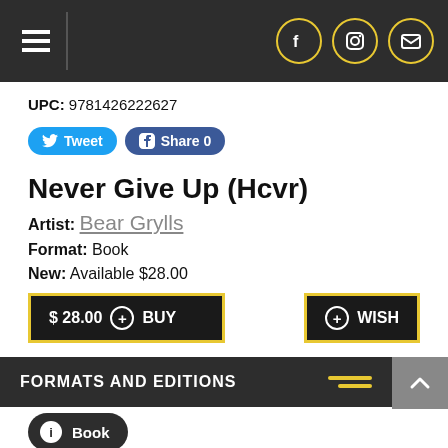Navigation bar with hamburger menu and social icons (Facebook, Instagram, Email)
UPC: 9781426222627
[Figure (other): Tweet and Facebook Share buttons]
Never Give Up (Hcvr)
Artist: Bear Grylls
Format: Book
New: Available $28.00
[Figure (other): Buy button ($28.00 + BUY) and Wish button]
FORMATS AND EDITIONS
Book